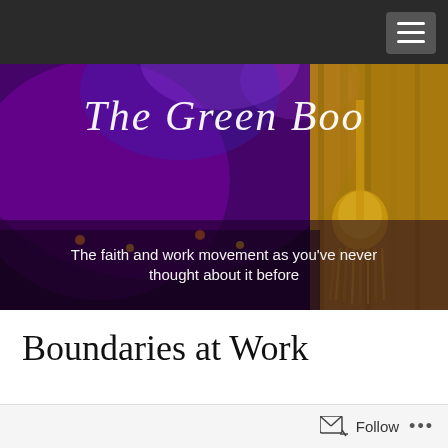[Figure (photo): Hero banner showing a grand event hall with purple/blue stage lighting and warm gold theater curtain with tassel on the right side, overlaid with the handwritten-style site title 'The Green Boo' and subtitle 'The faith and work movement as you've never thought about it before']
Boundaries at Work
by Kara Martin in Uncategorized
Follow •••